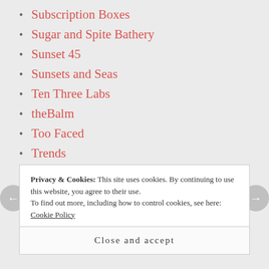Subscription Boxes
Sugar and Spite Bathery
Sunset 45
Sunsets and Seas
Ten Three Labs
theBalm
Too Faced
Trends
Tutorials
Uncategorized
Urban Decay
Visage Box
Privacy & Cookies:  This site uses cookies. By continuing to use this website, you agree to their use.
To find out more, including how to control cookies, see here: Cookie Policy
Close and accept